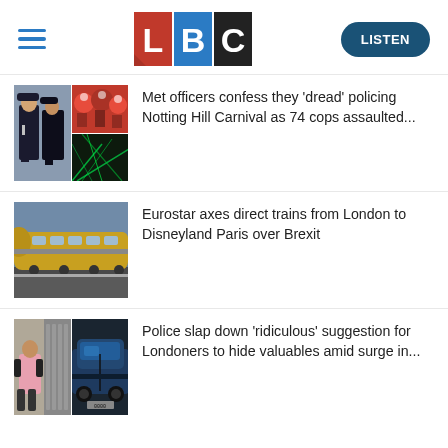LBC
Met officers confess they 'dread' policing Notting Hill Carnival as 74 cops assaulted...
Eurostar axes direct trains from London to Disneyland Paris over Brexit
Police slap down 'ridiculous' suggestion for Londoners to hide valuables amid surge in...